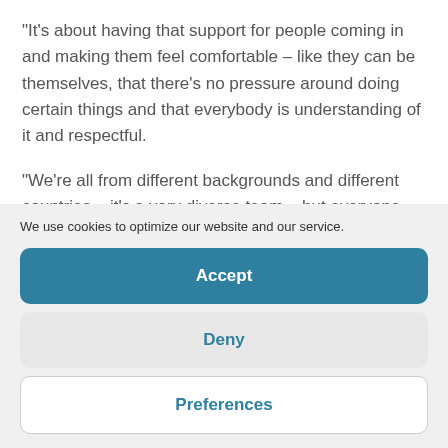"It's about having that support for people coming in and making them feel comfortable – like they can be themselves, that there's no pressure around doing certain things and that everybody is understanding of it and respectful.
"We're all from different backgrounds and different countries – it's a very diverse team – but everyone gets along and respects each
We use cookies to optimize our website and our service.
Accept
Deny
Preferences